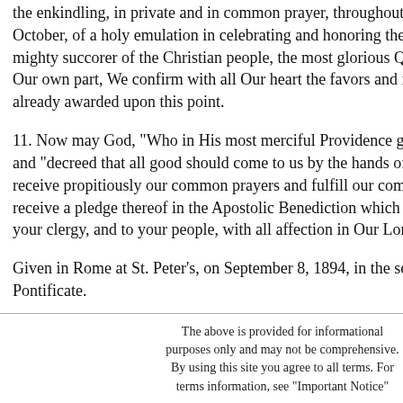the enkindling, in private and in common prayer, throughout the coming month of October, of a holy emulation in celebrating and honoring the Mother of God, the mighty succorer of the Christian people, the most glorious Queen of Heaven. For Our own part, We confirm with all Our heart the favors and indulgences We have already awarded upon this point.
11. Now may God, "Who in His most merciful Providence gave us this Mediatrix," and "decreed that all good should come to us by the hands of Mary" (St. Bernard), receive propitiously our common prayers and fulfill our common hopes. May you receive a pledge thereof in the Apostolic Benediction which We give to you, to your clergy, and to your people, with all affection in Our Lord.
Given in Rome at St. Peter's, on September 8, 1894, in the seventeenth year of our Pontificate.
The above is provided for informational purposes only and may not be comprehensive. By using this site you agree to all terms. For terms information, see "Important Notice"